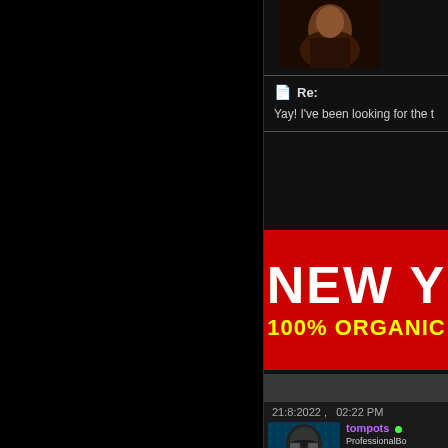[Figure (photo): Dark profile avatar image, partial face visible at top]
Re:
Yay! I've been looking for the t
[Figure (infographic): Red advertisement banner with white bold text 'NEW Y' and yellow text '100% ORGANIC']
21:8:2022 ,   02:22 PM
[Figure (photo): User avatar: person in black hoodie with sunglasses against blue matrix-style background]
tompots
ProfessionalBo
Donor